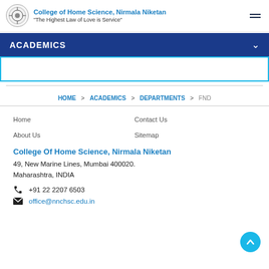College of Home Science, Nirmala Niketan — "The Highest Law of Love is Service"
ACADEMICS
HOME > ACADEMICS > DEPARTMENTS > FND
Home
Contact Us
About Us
Sitemap
College Of Home Science, Nirmala Niketan
49, New Marine Lines, Mumbai 400020.
Maharashtra, INDIA
+91 22 2207 6503
office@nnchsc.edu.in